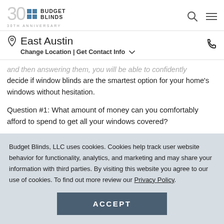Budget Blinds 30th Anniversary
East Austin
Change Location | Get Contact Info
and then answering them, you will be able to confidently decide if window blinds are the smartest option for your home's windows without hesitation.
Question #1: What amount of money can you comfortably afford to spend to get all your windows covered?
This is a question that no one wants to ask but is an
Budget Blinds, LLC uses cookies. Cookies help track user website behavior for functionality, analytics, and marketing and may share your information with third parties. By visiting this website you agree to our use of cookies. To find out more review our Privacy Policy.
ACCEPT